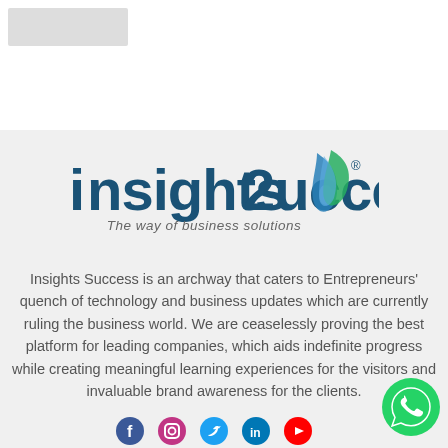[Figure (logo): Insights Success logo with tagline 'The way of business solutions' and decorative blue/green leaf graphic]
Insights Success is an archway that caters to Entrepreneurs' quench of technology and business updates which are currently ruling the business world. We are ceaselessly proving the best platform for leading companies, which aids indefinite progress while creating meaningful learning experiences for the visitors and invaluable brand awareness for the clients.
[Figure (illustration): Social media icons row at bottom and WhatsApp floating button]